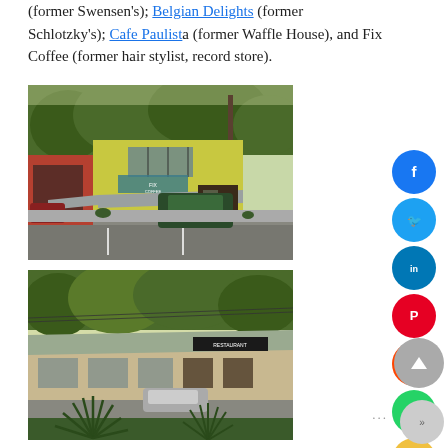(former Swensen's); Belgian Delights (former Schlotzky's); Cafe Paulista (former Waffle House), and Fix Coffee (former hair stylist, record store).
[Figure (photo): Exterior photo of Fix Coffee shop, a yellow/green building with a storefront awning, parking lot with cars, trees in background.]
[Figure (photo): Exterior photo of a low-rise restaurant building with large flat roof, signage reading 'RESTAURANT', cars in parking lot, palm-like plants in foreground.]